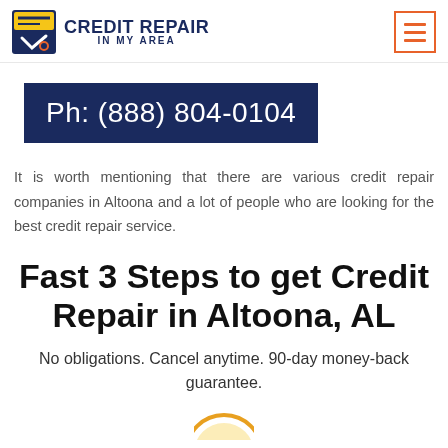CREDIT REPAIR IN MY AREA
Ph: (888) 804-0104
It is worth mentioning that there are various credit repair companies in Altoona and a lot of people who are looking for the best credit repair service.
Fast 3 Steps to get Credit Repair in Altoona, AL
No obligations. Cancel anytime. 90-day money-back guarantee.
[Figure (illustration): Partial circular icon visible at bottom center of page]